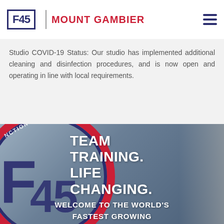F45 | MOUNT GAMBIER
Studio COVID-19 Status: Our studio has implemented additional cleaning and disinfection procedures, and is now open and operating in line with local requirements.
[Figure (photo): F45 Training studio branded photo with circular F45 logo on wall, showing 'TEAM TRAINING. LIFE CHANGING.' text overlay and 'WELCOME TO THE WORLD'S FASTEST GROWING' text at bottom, with a person visible on the right side]
TEAM TRAINING. LIFE CHANGING.
WELCOME TO THE WORLD'S FASTEST GROWING